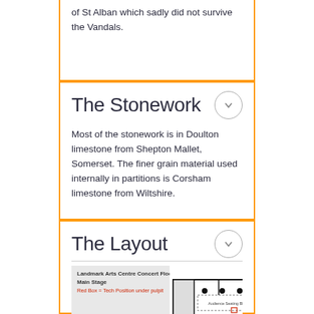of St Alban which sadly did not survive the Vandals.
The Stonework
Most of the stonework is in Doulton limestone from Shepton Mallet, Somerset. The finer grain material used internally in partitions is Corsham limestone from Wiltshire.
The Layout
[Figure (engineering-diagram): Landmark Arts Centre Concert Floorplan - Main Stage architectural floor plan showing audience seating blocks, entrance, and tech positions]